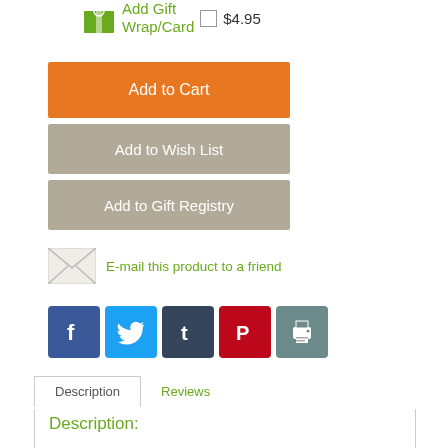Add Gift Wrap/Card  $4.95
Add to Cart
Add to Wish List
Add to Gift Registry
E-mail this product to a friend
[Figure (infographic): Social sharing icons: Facebook, Twitter, Tumblr, Pinterest, Print]
Description    Reviews
Description:
Product Features: